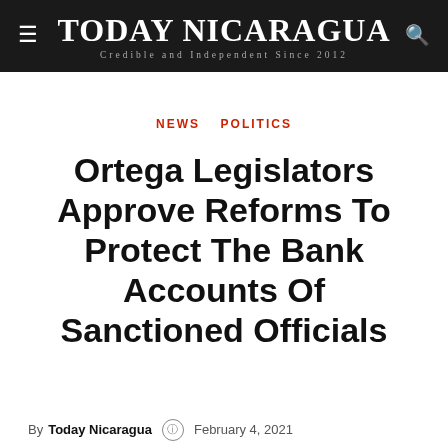TODAY NICARAGUA — Credible and Independent Since 2012
NEWS   POLITICS
Ortega Legislators Approve Reforms To Protect The Bank Accounts Of Sanctioned Officials
By Today Nicaragua  ③  February 4, 2021  👁 500